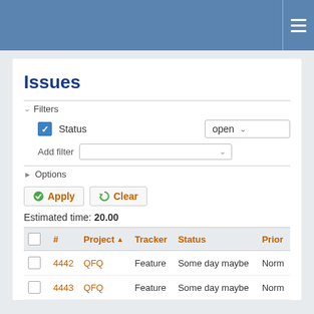Issues management page header with hamburger menu
Issues
Filters (collapsed section with Status = open)
Add filter
Options (collapsed)
Apply  Clear
Estimated time: 20.00
| # | Project | Tracker | Status | Prior |
| --- | --- | --- | --- | --- |
| 4442 | QFQ | Feature | Some day maybe | Norm |
| 4443 | QFQ | Feature | Some day maybe | Norm |